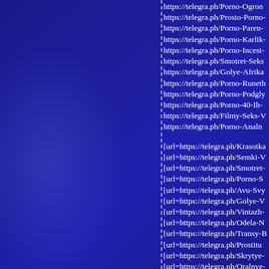https://telegra.ph/Porno-Ogrom-...
https://telegra.ph/Prosto-Porno-...
https://telegra.ph/Porno-Paren-...
https://telegra.ph/Porno-Karlik-...
https://telegra.ph/Porno-Incest-...
https://telegra.ph/Smotret-Seks-...
https://telegra.ph/Golye-Afrika-...
https://telegra.ph/Porno-Runeth-...
https://telegra.ph/Porno-Podgly-...
https://telegra.ph/Porno-40-Ih-...
https://telegra.ph/Filmy-Seks-V-...
https://telegra.ph/Porno-Analn-...

[url=https://telegra.ph/Krasotka-...
[url=https://telegra.ph/Semki-V-...
[url=https://telegra.ph/Smotret-...
[url=https://telegra.ph/Porno-S-...
[url=https://telegra.ph/Avu-Svy-...
[url=https://telegra.ph/Golye-V-...
[url=https://telegra.ph/Vintazh-...
[url=https://telegra.ph/Odela-N-...
[url=https://telegra.ph/Transy-B-...
[url=https://telegra.ph/Prostitu-...
[url=https://telegra.ph/Skrytye-...
[url=https://telegra.ph/Oralnye-...
[url=https://telegra.ph/P-...